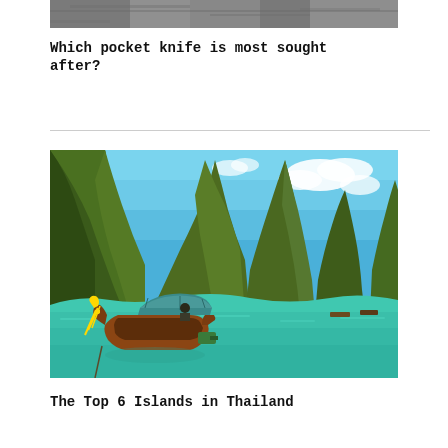[Figure (photo): Top portion of a photo showing rocky/stone surface, partially cropped at the top of the page.]
Which pocket knife is most sought after?
[Figure (photo): Scenic photo of a traditional Thai longtail wooden boat with a yellow garland on the bow, floating on clear turquoise water near tall limestone cliffs covered in green vegetation, under a blue sky with white clouds. Classic Phi Phi Islands or similar Thai island scenery.]
The Top 6 Islands in Thailand